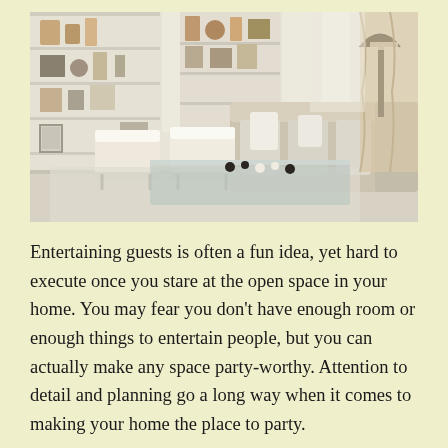[Figure (photo): A modern, elegant living room with white and beige tones. Features built-in white shelving units filled with decorative items, two white Barcelona-style chairs, a large beige sectional sofa with cushions, a glass coffee table with figurines, a black floor lamp, and sheer curtains. The room has a bright, airy atmosphere.]
Entertaining guests is often a fun idea, yet hard to execute once you stare at the open space in your home. You may fear you don't have enough room or enough things to entertain people, but you can actually make any space party-worthy. Attention to detail and planning go a long way when it comes to making your home the place to party.